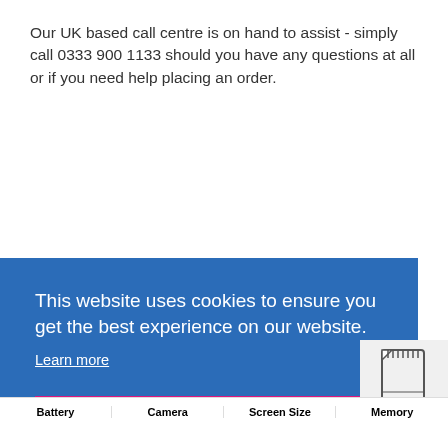Our UK based call centre is on hand to assist - simply call 0333 900 1133 should you have any questions at all or if you need help placing an order.
This website uses cookies to ensure you get the best experience on our website.
Learn more
Got It!
[Figure (illustration): SD card / memory card icon illustration]
| Battery | Camera | Screen Size | Memory |
| --- | --- | --- | --- |